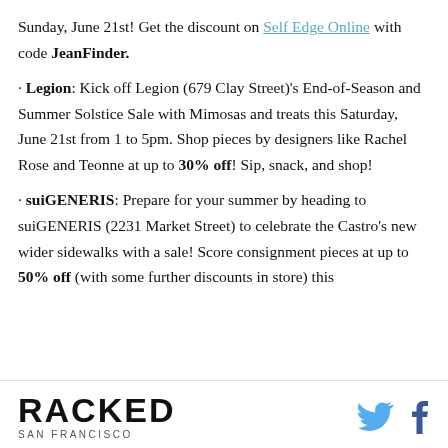Sunday, June 21st! Get the discount on Self Edge Online with code JeanFinder.
· Legion: Kick off Legion (679 Clay Street)'s End-of-Season and Summer Solstice Sale with Mimosas and treats this Saturday, June 21st from 1 to 5pm. Shop pieces by designers like Rachel Rose and Teonne at up to 30% off! Sip, snack, and shop!
· suiGENERIS: Prepare for your summer by heading to suiGENERIS (2231 Market Street) to celebrate the Castro's new wider sidewalks with a sale! Score consignment pieces at up to 50% off (with some further discounts in store) this
RACKED SAN FRANCISCO